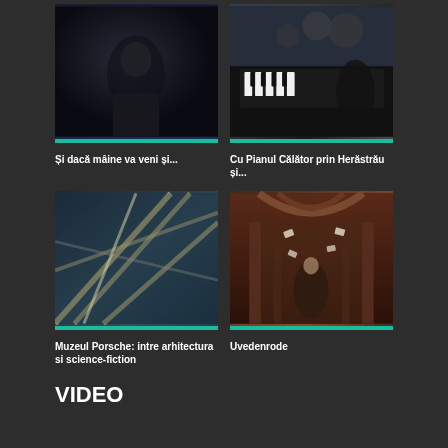[Figure (photo): Person sitting alone in dark, moody black and white photo]
Și dacă mâine va veni și...
[Figure (photo): Pianist performing at grand piano with audience in background]
Cu Pianul Călător prin Herăstrău și...
[Figure (photo): Modern architectural interior with glass ceiling and geometric lines]
Muzeul Porsche: intre arhitectura si science-fiction
[Figure (photo): Fantasy scene with woman in ornate dress in arched brick corridor with flying papers]
Uvedenrode
VIDEO